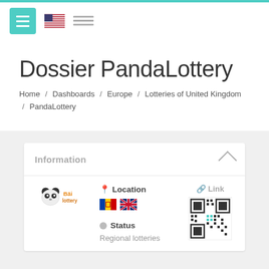Navigation bar with hamburger menu, US flag, and language selector
Dossier PandaLottery
Home / Dashboards / Europe / Lotteries of United Kingdom / PandaLottery
Information
[Figure (logo): PandaLottery logo with panda icon in orange/gold]
Location
[Figure (illustration): Moldova and United Kingdom flag icons]
Link
[Figure (other): QR code for PandaLottery link]
Status
Regional lotteries